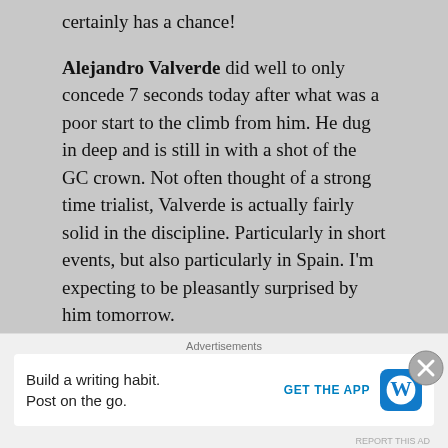certainly has a chance!
Alejandro Valverde did well to only concede 7 seconds today after what was a poor start to the climb from him. He dug in deep and is still in with a shot of the GC crown. Not often thought of a strong time trialist, Valverde is actually fairly solid in the discipline. Particularly in short events, but also particularly in Spain. I'm expecting to be pleasantly surprised by him tomorrow.
I'm also expecting to be surprised by Fabio Felline tomorrow. The Italian was exceptional on the lower slopes of today's final climb, setting up his team leader. He's capable of a top 10!
Advertisements
Build a writing habit. Post on the go. GET THE APP